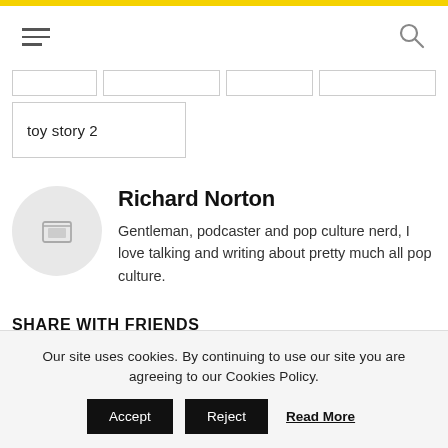Navigation header with hamburger menu and search icon
[Figure (screenshot): Filter/tag row with four empty bordered boxes]
toy story 2
Richard Norton
Gentleman, podcaster and pop culture nerd, I love talking and writing about pretty much all pop culture.
SHARE WITH FRIENDS
Our site uses cookies. By continuing to use our site you are agreeing to our Cookies Policy. Accept Reject Read More